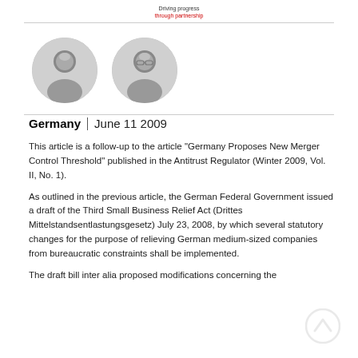Driving progress through partnership
[Figure (photo): Two circular black-and-white portrait photos of authors side by side]
Germany | June 11 2009
This article is a follow-up to the article “Germany Proposes New Merger Control Threshold” published in the Antitrust Regulator (Winter 2009, Vol. II, No. 1).
As outlined in the previous article, the German Federal Government issued a draft of the Third Small Business Relief Act (Drittes Mittelstandsentlastungsgesetz) July 23, 2008, by which several statutory changes for the purpose of relieving German medium-sized companies from bureaucratic constraints shall be implemented.
The draft bill inter alia proposed modifications concerning the